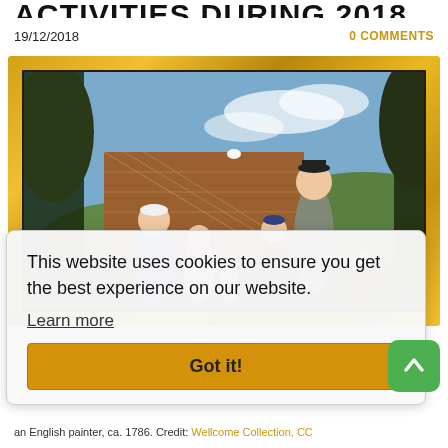ACTIVITIES DURING 2018
19/12/2018
0 COMMENTS
[Figure (photo): A classical oil painting in a gold ornate frame depicting an English family in a garden scene, ca. 1786. A gentleman in a grey coat and black hat stands with children and a woman in a blue dress.]
This website uses cookies to ensure you get the best experience on our website.
Learn more
Got it!
an English painter, ca. 1786. Credit: Wellcome Collection, CC